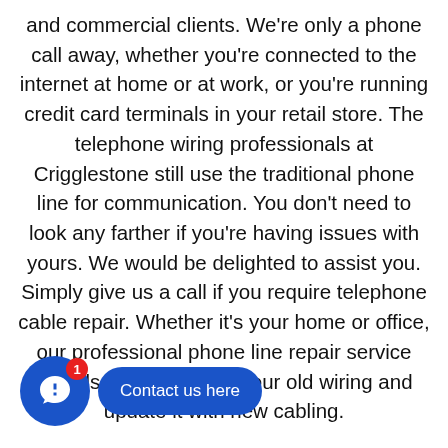and commercial clients. We're only a phone call away, whether you're connected to the internet at home or at work, or you're running credit card terminals in your retail store. The telephone wiring professionals at Crigglestone still use the traditional phone line for communication. You don't need to look any farther if you're having issues with yours. We would be delighted to assist you. Simply give us a call if you require telephone cable repair. Whether it's your home or office, our professional phone line repair service can also remove all of your old wiring and update it with new cabling.
[Figure (other): Blue circular chat widget icon with a '1' notification badge in red, and a blue 'Contact us here' button pill next to it.]